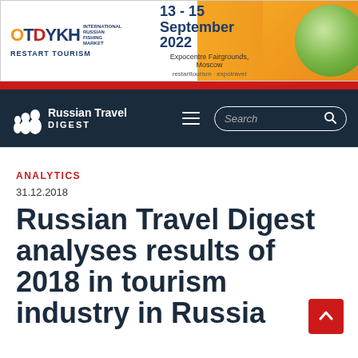[Figure (infographic): Advertisement banner for OTDYKH International Russian Travel Market, 13-15 September 2022, Expocentre Fairgrounds, Moscow. restarttourism.travel]
Russian Travel DIGEST — navigation bar with search
ANALYTICS
31.12.2018
Russian Travel Digest analyses results of 2018 in tourism industry in Russia